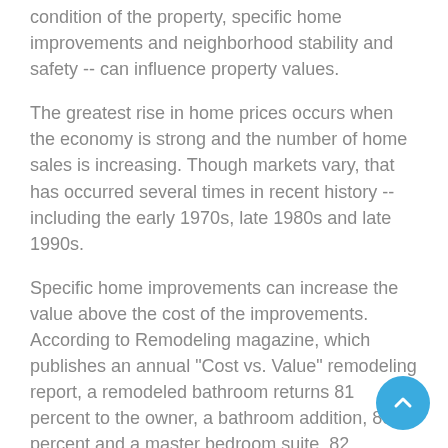condition of the property, specific home improvements and neighborhood stability and safety -- can influence property values.
The greatest rise in home prices occurs when the economy is strong and the number of home sales is increasing. Though markets vary, that has occurred several times in recent history -- including the early 1970s, late 1980s and late 1990s.
Specific home improvements can increase the value above the cost of the improvements. According to Remodeling magazine, which publishes an annual "Cost vs. Value" remodeling report, a remodeled bathroom returns 81 percent to the owner, a bathroom addition, 89 percent and a master bedroom suite, 82 percent. Remember, quality pays. Well-planned and well-executed remodeling jobs are a good investment while bad work seldom enhances value or livability.
The safety and security of a neighborhood can affect property values, too. If you live in a high-crime area, an